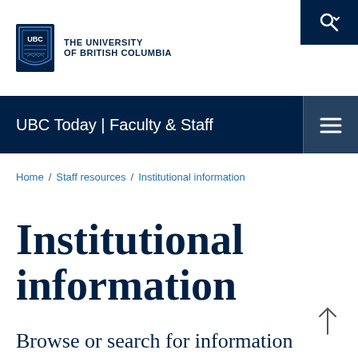[Figure (logo): UBC shield logo with text THE UNIVERSITY OF BRITISH COLUMBIA]
UBC Today | Faculty & Staff
Home / Staff resources / Institutional information
Institutional information
Browse or search for information